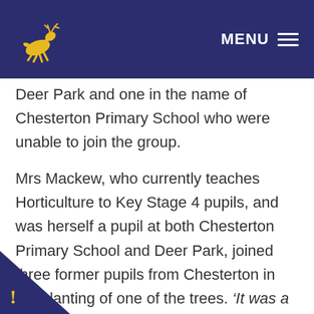MENU
Deer Park and one in the name of Chesterton Primary School who were unable to join the group.
Mrs Mackew, who currently teaches Horticulture to Key Stage 4 pupils, and was herself a pupil at both Chesterton Primary School and Deer Park, joined three former pupils from Chesterton in the planting of one of the trees. ‘It was a wonderful opportunity for my Horticulture class to represent the school within the local community. It was also fantastic to be part of Cirencester’s history, leaving a legacy for